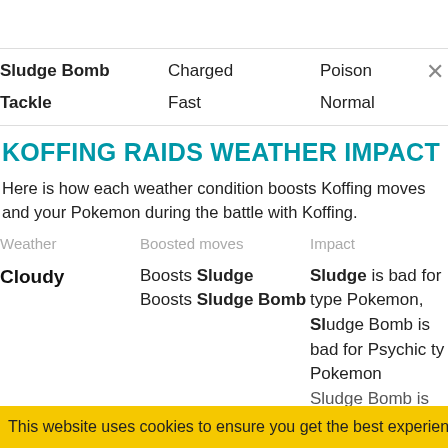|  | Type | Element |
| --- | --- | --- |
| Sludge Bomb | Charged | Poison |
| Tackle | Fast | Normal |
KOFFING RAIDS WEATHER IMPACT
Here is how each weather condition boosts Koffing moves and your Pokemon during the battle with Koffing.
| Weather | Boosted moves | Impact |
| --- | --- | --- |
| Cloudy | Boosts Sludge
Boosts Sludge Bomb | Sludge is bad for type Pokemon, Sludge Bomb is bad for Psychic type Pokemon
Sludge Bomb is... |
This website uses cookies to ensure you get the best experience on ou